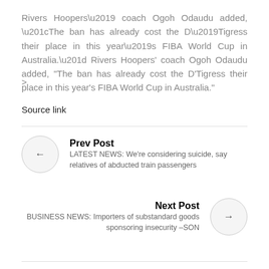Rivers Hoopers’ coach Ogoh Odaudu added, “The ban has already cost the D’Tigress their place in this year’s FIBA World Cup in Australia.”
>
Source link
Prev Post
LATEST NEWS: We’re considering suicide, say relatives of abducted train passengers
Next Post
BUSINESS NEWS: Importers of substandard goods sponsoring insecurity –SON